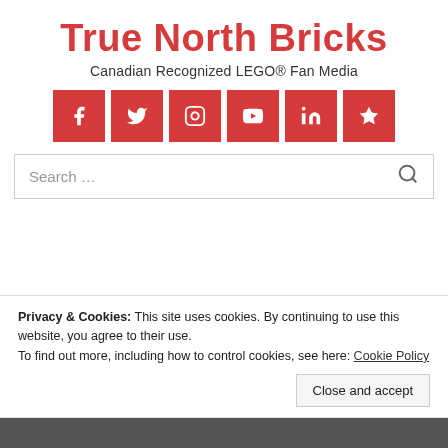True North Bricks
Canadian Recognized LEGO® Fan Media
[Figure (infographic): Six red social media icon buttons: Facebook, Twitter, Instagram, YouTube, LinkedIn, and a star/bookmark icon]
Search …
MENU
Privacy & Cookies: This site uses cookies. By continuing to use this website, you agree to their use.
To find out more, including how to control cookies, see here: Cookie Policy
Close and accept
CANADIAN LEGO® DEALS (06/25/21)
Posted on June 25, 2021 | by truenorthbricks